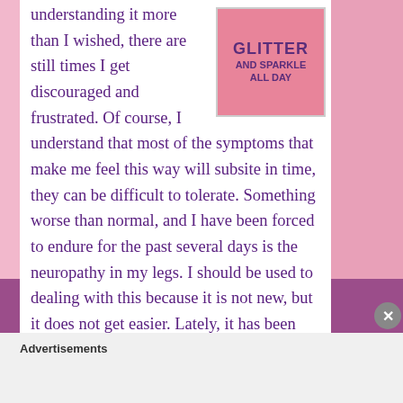[Figure (other): Advertisement box with pink background reading 'GLITTER AND SPARKLE ALL DAY']
understanding it more than I wished, there are still times I get discouraged and frustrated. Of course, I understand that most of the symptoms that make me feel this way will subsite in time, they can be difficult to tolerate. Something worse than normal, and I have been forced to endure for the past several days is the neuropathy in my legs. I should be used to dealing with this because it is not new, but it does not get easier. Lately, it has been painful to walk and even sit down the sensation of tingly, pain, and the “spider
Advertisements